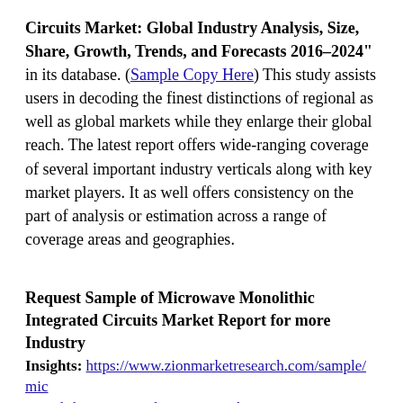Circuits Market: Global Industry Analysis, Size, Share, Growth, Trends, and Forecasts 2016–2024" in its database. (Sample Copy Here) This study assists users in decoding the finest distinctions of regional as well as global markets while they enlarge their global reach. The latest report offers wide-ranging coverage of several important industry verticals along with key market players. It as well offers consistency on the part of analysis or estimation across a range of coverage areas and geographies.
Request Sample of Microwave Monolithic Integrated Circuits Market Report for more Industry Insights: https://www.zionmarketresearch.com/sample/microwave-monolithic-integrated-circuits-market
Major Key Players of Microwave Monolithic Integrated Circuits Market: